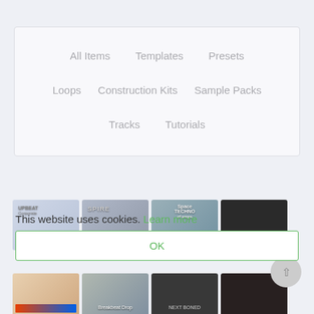All Items
Templates
Presets
Loops
Construction Kits
Sample Packs
Tracks
Tutorials
[Figure (screenshot): Grid of music product thumbnails including Upbeat Corporate, Spire, Space Techno, and a dark DJ photo with PLAY button]
This website uses cookies. Learn more
OK
[Figure (screenshot): Second row of music product thumbnails including colorful pattern, Breakbeat Drop, Next Boned, and another dark music image]